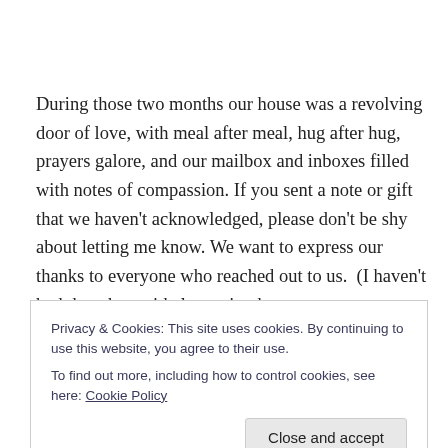During those two months our house was a revolving door of love, with meal after meal, hug after hug, prayers galore, and our mailbox and inboxes filled with notes of compassion. If you sent a note or gift that we haven't acknowledged, please don't be shy about letting me know. We want to express our thanks to everyone who reached out to us.  (I haven't had the wherewithal to write the
Privacy & Cookies: This site uses cookies. By continuing to use this website, you agree to their use.
To find out more, including how to control cookies, see here: Cookie Policy